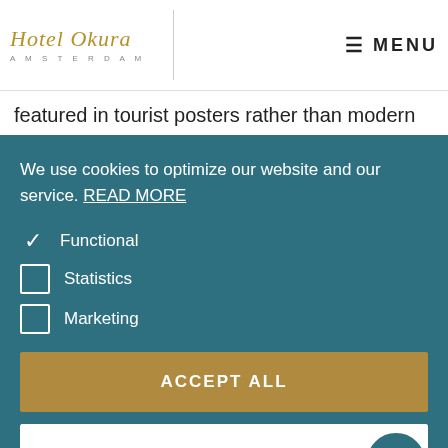[Figure (logo): Hotel Okura Amsterdam logo with italic script text and 'AMSTERDAM' subtitle]
MENU
featured in tourist posters rather than modern
We use cookies to optimize our website and our service. READ MORE
✓ Functional
☐ Statistics
☐ Marketing
ACCEPT ALL
SAVE PREFERENCES
f